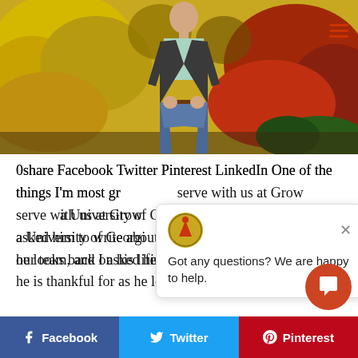[Figure (photo): Person standing outdoors in autumn foliage setting, wearing dark blazer, light shirt, and jeans. Colorful fall leaves in background in yellow, orange, and red hues. A hamburger menu icon (three red lines) visible in the top right corner.]
0share Facebook Twitter Pinterest LinkedIn One of the things I'm most gr[ateful for are the people who] serve with us at Grow[th Group. We recently added] a University of Georgi[a student to] our team, and I asked him to write about mentors he is thankful for as he looks back on his life
[Figure (other): Chat popup widget with logo (circular icon with mountain/person symbol in red-orange on gold background) and text 'Got any questions? We are happy to help.' with a close button (X). Below is a circular orange chat button with speech bubble icon.]